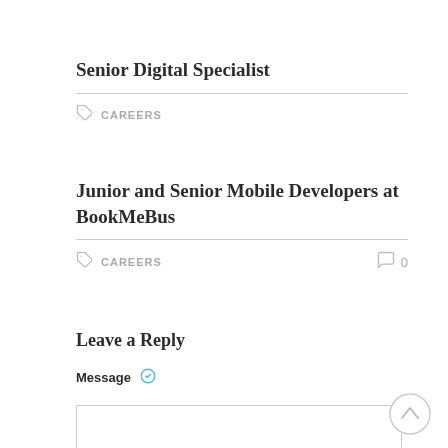Senior Digital Specialist
CAREERS
Junior and Senior Mobile Developers at BookMeBus
CAREERS
0
Leave a Reply
Message